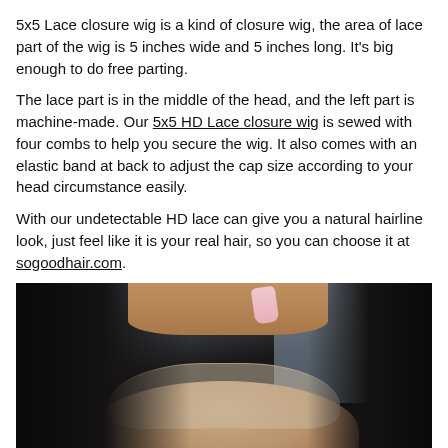5x5 Lace closure wig is a kind of closure wig, the area of lace part of the wig is 5 inches wide and 5 inches long. It's big enough to do free parting.
The lace part is in the middle of the head, and the left part is machine-made. Our 5x5 HD Lace closure wig is sewed with four combs to help you secure the wig. It also comes with an elastic band at back to adjust the cap size according to your head circumstance easily.
With our undetectable HD lace can give you a natural hairline look, just feel like it is your real hair, so you can choose it at sogoodhair.com.
[Figure (photo): Close-up photo of the back of a person's head showing a 5x5 HD lace closure wig being applied, with the transparent lace closure piece visible on the scalp. A hand with pink nails is visible at the top adjusting the wig. A 'Chat with us' button overlay appears in the bottom right.]